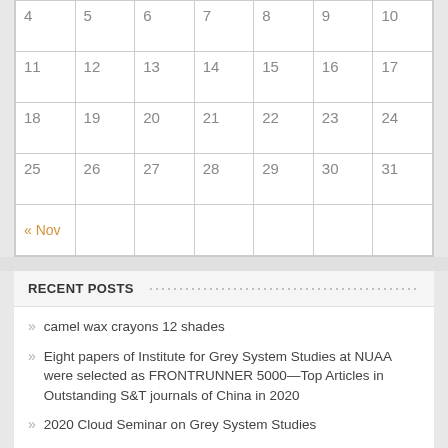|  |  |  |  |  |  |  |
| --- | --- | --- | --- | --- | --- | --- |
| 4 | 5 | 6 | 7 | 8 | 9 | 10 |
| 11 | 12 | 13 | 14 | 15 | 16 | 17 |
| 18 | 19 | 20 | 21 | 22 | 23 | 24 |
| 25 | 26 | 27 | 28 | 29 | 30 | 31 |
| « Nov |  |  |  |  |  |  |
RECENT POSTS
camel wax crayons 12 shades
Eight papers of Institute for Grey System Studies at NUAA were selected as FRONTRUNNER 5000—Top Articles in Outstanding S&T journals of China in 2020
2020 Cloud Seminar on Grey System Studies